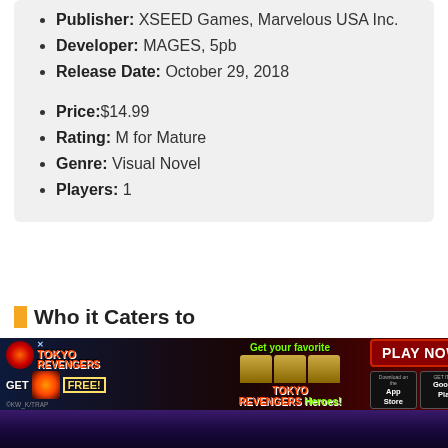Publisher: XSEED Games, Marvelous USA Inc.
Developer: MAGES, 5pb
Release Date: October 29, 2018
Price: $14.99
Rating: M for Mature
Genre: Visual Novel
Players: 1
Who it Caters to
[Figure (illustration): Tokyo Revengers promotional advertisement banner with game characters, Get your favorite Tokyo Revengers Heroes text, Play Now button, App Store and Google Play download buttons]
[Figure (illustration): Dark purple/blue stylized game artwork at bottom of page]